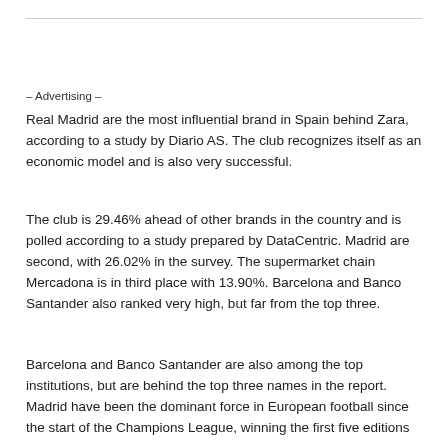– Advertising –
Real Madrid are the most influential brand in Spain behind Zara, according to a study by Diario AS. The club recognizes itself as an economic model and is also very successful.
The club is 29.46% ahead of other brands in the country and is polled according to a study prepared by DataCentric. Madrid are second, with 26.02% in the survey. The supermarket chain Mercadona is in third place with 13.90%. Barcelona and Banco Santander also ranked very high, but far from the top three.
Barcelona and Banco Santander are also among the top institutions, but are behind the top three names in the report. Madrid have been the dominant force in European football since the start of the Champions League, winning the first five editions